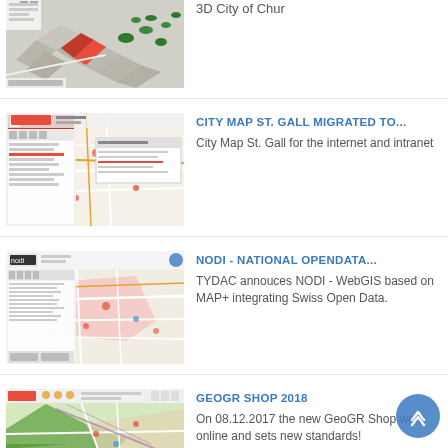[Figure (screenshot): 3D city map screenshot showing buildings in a city]
3D City of Chur
[Figure (screenshot): City map application screenshot showing St. Gall map with panel]
CITY MAP ST. GALL MIGRATED TO...
City Map St. Gall for the internet and intranet
[Figure (screenshot): NODI WebGIS application screenshot showing map with nodi branding]
NODI - NATIONAL OPENDATA...
TYDAC annouces NODI - WebGIS based on MAP+ integrating Swiss Open Data.
[Figure (screenshot): GeoGR Shop map screenshot showing geographic data]
GEOGR SHOP 2018
On 08.12.2017 the new GeoGR Shop went online and sets new standards!